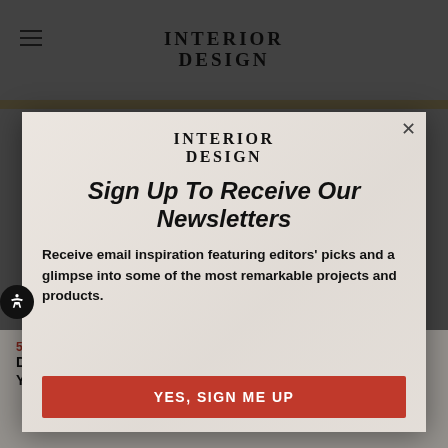INTERIOR
DESIGN
[Figure (screenshot): Background photo of designers/people in formal attire, muted/faded]
Sign Up To Receive Our Newsletters
Receive email inspiration featuring editors' picks and a glimpse into some of the most remarkable projects and products.
YES, SIGN ME UP
5 Designers and Manufacturers Reveal How Winning a Best of Year Award Transformed Their Practice